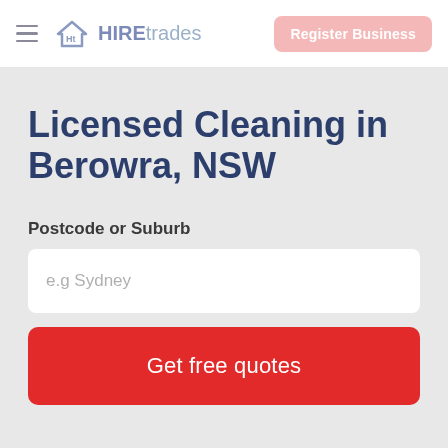HIREtrades — Register Business
Licensed Cleaning in Berowra, NSW
Postcode or Suburb
e.g Sydney
Get free quotes